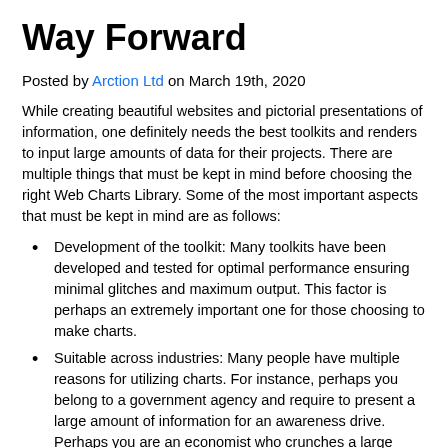Way Forward
Posted by Arction Ltd on March 19th, 2020
While creating beautiful websites and pictorial presentations of information, one definitely needs the best toolkits and renders to input large amounts of data for their projects. There are multiple things that must be kept in mind before choosing the right Web Charts Library. Some of the most important aspects that must be kept in mind are as follows:
Development of the toolkit: Many toolkits have been developed and tested for optimal performance ensuring minimal glitches and maximum output. This factor is perhaps an extremely important one for those choosing to make charts.
Suitable across industries: Many people have multiple reasons for utilizing charts. For instance, perhaps you belong to a government agency and require to present a large amount of information for an awareness drive. Perhaps you are an economist who crunches a large amount of financial data, or you are an academic researcher, looking to utilize visual data for your thesis or research projects. Irrespective of your needs, it is important to use the correct toolkit that is applicable